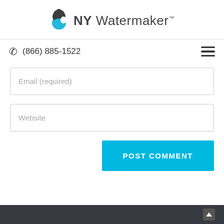[Figure (logo): NY Watermaker logo with apple icon in dark and blue tones, and the text 'NY Watermaker' with trademark symbol]
(866) 885-1522
Email (required)
Website
POST COMMENT